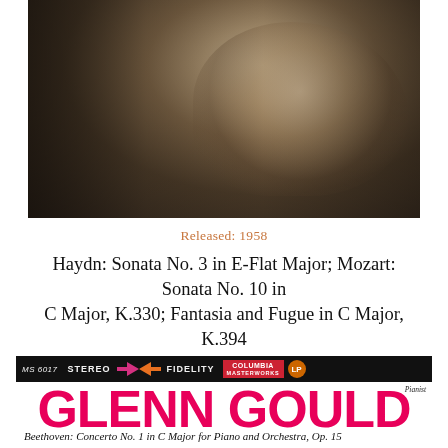[Figure (photo): Black and white photograph of Glenn Gould in profile, resting his chin on his hand, looking contemplative, wearing dark clothing]
Released: 1958
Haydn: Sonata No. 3 in E-Flat Major; Mozart: Sonata No. 10 in C Major, K.330; Fantasia and Fugue in C Major, K.394
[Figure (logo): Columbia Masterworks record label banner showing MS 6017, STEREO, opposing arrows, FIDELITY, Columbia Masterworks logo, LP circle]
GLENN GOULD
Pianist
Beethoven: Concerto No. 1 in C Major for Piano and Orchestra, Op. 15